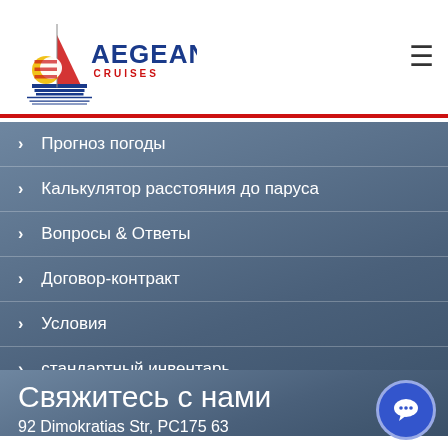[Figure (logo): Aegean Cruises logo with sailboat graphic and company name]
Прогноз погоды
Калькулятор расстояния до паруса
Вопросы & Ответы
Договор-контракт
Условия
стандартный инвентарь
Варианты оплаты
Свяжитесь с нами
92 Dimokratias Str, PC175 63